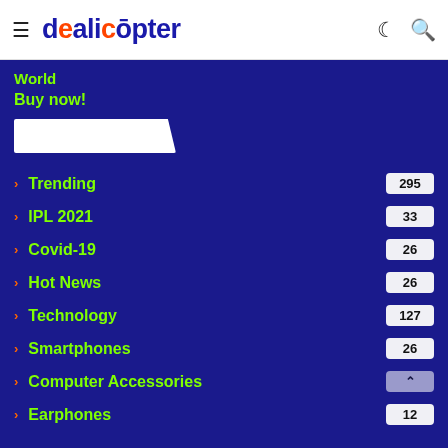dealicopter — navigation header with hamburger menu, moon icon, and search icon
World
Buy now!
[Figure (other): White search bar / input field with angled right edge on dark blue background]
Trending 295
IPL 2021 33
Covid-19 26
Hot News 26
Technology 127
Smartphones 26
Computer Accessories
Earphones 12